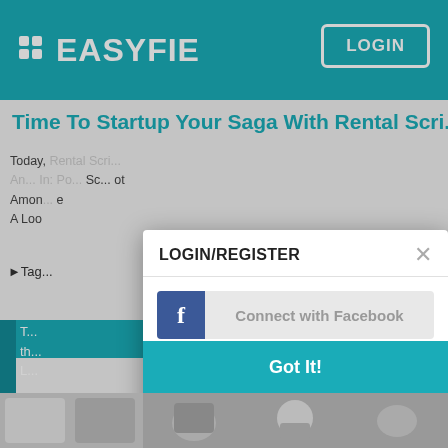[Figure (screenshot): Easyfie website screenshot showing a teal header with the Easyfie logo and a LOGIN button. A modal dialog titled LOGIN/REGISTER is displayed with a Facebook connect button, an OR USE YOUR EMAIL ADDRESS divider, and Login and Sign up buttons. A Got It! teal bar appears at the bottom of the modal. Background shows a blog post headline 'Time To Startup Your Saga With Rental Scri...']